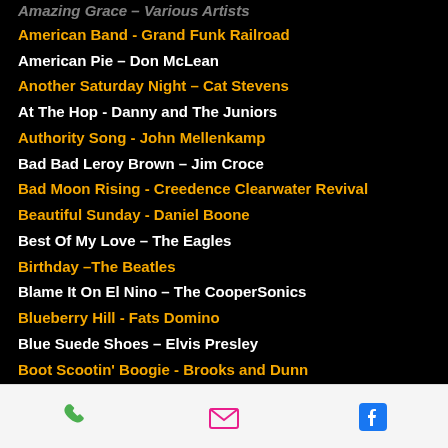Amazing Grace – Various Artists (partial, clipped at top)
American Band - Grand Funk Railroad
American Pie – Don McLean
Another Saturday Night – Cat Stevens
At The Hop - Danny and The Juniors
Authority Song - John Mellenkamp
Bad Bad Leroy Brown – Jim Croce
Bad Moon Rising - Creedence Clearwater Revival
Beautiful Sunday - Daniel Boone
Best Of My Love – The Eagles
Birthday –The Beatles
Blame It On El Nino – The CooperSonics
Blueberry Hill - Fats Domino
Blue Suede Shoes – Elvis Presley
Boot Scootin' Boogie - Brooks and Dunn
Brown Eyed Girl – Van Morrison
Brown Sugar – The Rolling Stones
Build Me Up Buttercup - The Foundations
Burning Love - Elvis Presley
By The Light Of The Silvery Moon - Various Artists
Calendar Girl - Neil Sedaka
Can't Buy Me Love – The Beatles
Phone | Email | Facebook